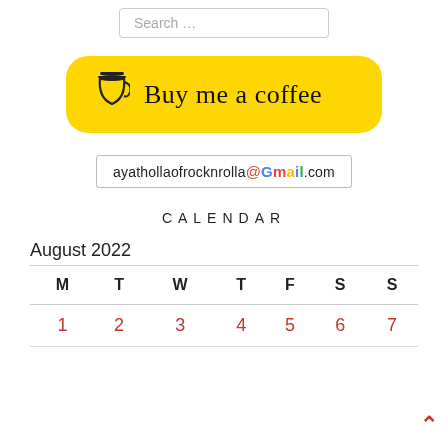[Figure (screenshot): Search input box with placeholder text 'Search ...']
[Figure (screenshot): Yellow 'Buy me a coffee' button with coffee cup icon]
[Figure (screenshot): Gmail email address: ayathollaofrocknrolla@Gmail.com in a bordered box]
CALENDAR
| M | T | W | T | F | S | S |
| --- | --- | --- | --- | --- | --- | --- |
| 1 | 2 | 3 | 4 | 5 | 6 | 7 |